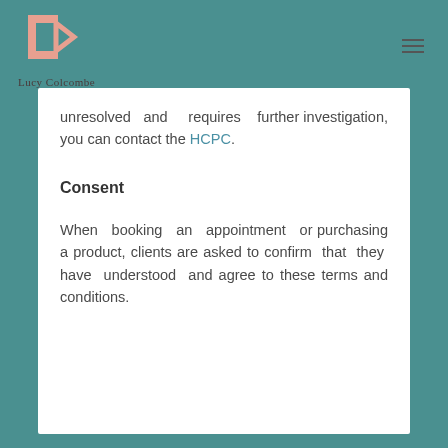Lucy Colcombe
unresolved and requires further investigation, you can contact the HCPC.
Consent
When booking an appointment or purchasing a product, clients are asked to confirm that they have understood and agree to these terms and conditions.